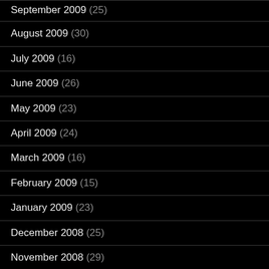September 2009 (25)
August 2009 (30)
July 2009 (16)
June 2009 (26)
May 2009 (23)
April 2009 (24)
March 2009 (16)
February 2009 (15)
January 2009 (23)
December 2008 (25)
November 2008 (29)
October 2008 (32)
September 2008 (32)